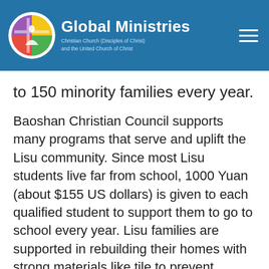Global Ministries
Christian Church (Disciples of Christ) and the United Church of Christ
to 150 minority families every year.
Baoshan Christian Council supports many programs that serve and uplift the Lisu community. Since most Lisu students live far from school, 1000 Yuan (about $155 US dollars) is given to each qualified student to support them to go to school every year. Lisu families are supported in rebuilding their homes with strong materials like tile to prevent natural disasters and forest fires. Most Lisu communities do not have wells for water, so